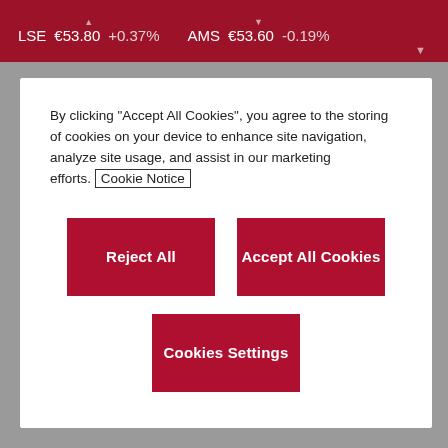LSE €53.80 +0.37%   AMS €53.60 -0.19%
By clicking "Accept All Cookies", you agree to the storing of cookies on your device to enhance site navigation, analyze site usage, and assist in our marketing efforts. Cookie Notice
Reject All | Accept All Cookies | Cookies Settings
|  | Details of PDMR / PCA |
| --- | --- |
| b) | Name | Manik Jhangiani |
| c. | Reason for notification |  |